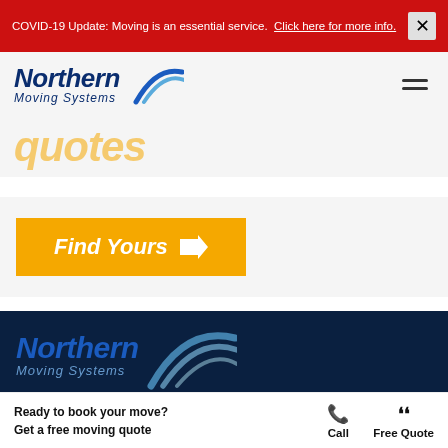COVID-19 Update: Moving is an essential service. Click here for more info.
[Figure (logo): Northern Moving Systems logo with blue swoosh, top nav area]
Get Quotes (partially visible heading in gold/yellow italic)
Find Yours →
[Figure (logo): Northern Moving Systems logo, large, on dark blue background]
Northern Moving Systems is your moving company of choice for your next relocation. With everything you have to think about and during your upcoming relocation, you shouldn't have to worry about the actual
Ready to book your move?
Get a free moving quote
Call
Free Quote